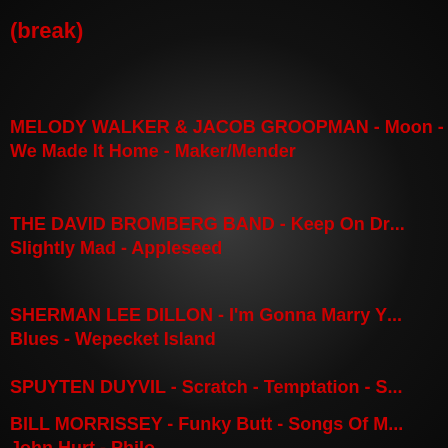(break)
MELODY WALKER & JACOB GROOPMAN - Moon - We Made It Home - Maker/Mender
THE DAVID BROMBERG BAND - Keep On Dr... Slightly Mad - Appleseed
SHERMAN LEE DILLON - I'm Gonna Marry Y... Blues - Wepecket Island
SPUYTEN DUYVIL - Scratch - Temptation - S...
BILL MORRISSEY - Funky Butt - Songs Of M... John Hurt - Philo